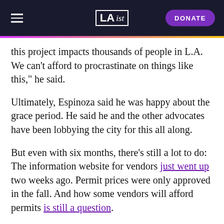LAist | DONATE
this project impacts thousands of people in L.A. We can't afford to procrastinate on things like this," he said.
Ultimately, Espinoza said he was happy about the grace period. He said he and the other advocates have been lobbying the city for this all along.
But even with six months, there's still a lot to do: The information website for vendors just went up two weeks ago. Permit prices were only approved in the fall. And how some vendors will afford permits is still a question.